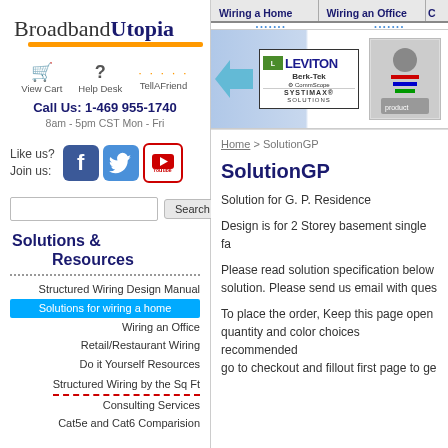BroadbandUtopia
View Cart  Help Desk  TellAFriend
Call Us: 1-469 955-1740
8am - 5pm CST Mon - Fri
Like us? Join us:
Search
Solutions & Resources
Structured Wiring Design Manual
Solutions for wiring a home
Wiring an Office
Retail/Restaurant Wiring
Do it Yourself Resources
Structured Wiring by the Sq Ft
Consulting Services
Cat5e and Cat6 Comparision
Wiring a Home  Wiring an Office
[Figure (logo): Leviton, Berk-Tek, CommScope, SYSTIMAX SOLUTIONS logos with product image]
Home > SolutionGP
SolutionGP
Solution for G. P. Residence
Design is for 2 Storey basement single fa
Please read solution specification below solution. Please send us email with ques
To place the order, Keep this page open quantity and color choices recommended go to checkout and fillout first page to ge